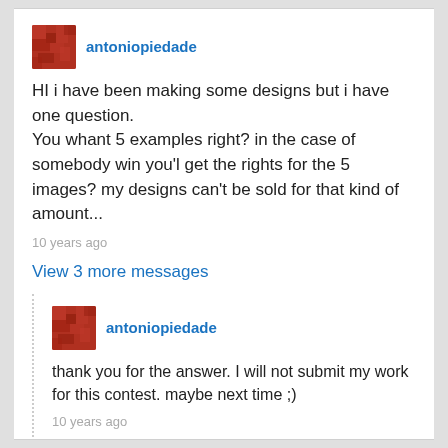[Figure (photo): Red textured avatar image for user antoniopiedade]
antoniopiedade
HI i have been making some designs but i have one question.
You whant 5 examples right? in the case of somebody win you'l get the rights for the 5 images? my designs can't be sold for that kind of amount...
10 years ago
View 3 more messages
[Figure (photo): Red textured avatar image for user antoniopiedade (reply)]
antoniopiedade
thank you for the answer. I will not submit my work for this contest. maybe next time ;)
10 years ago